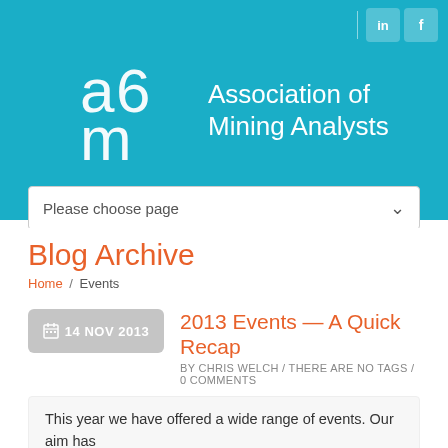[Figure (logo): Association of Mining Analysts (AMA) logo — white letters 'a', '6', 'm' stylized on teal background, with text 'Association of Mining Analysts' in white]
Please choose page
Blog Archive
Home / Events
14 NOV 2013
2013 Events — A Quick Recap
BY CHRIS WELCH / THERE ARE NO TAGS / 0 COMMENTS
This year we have offered a wide range of events. Our aim has